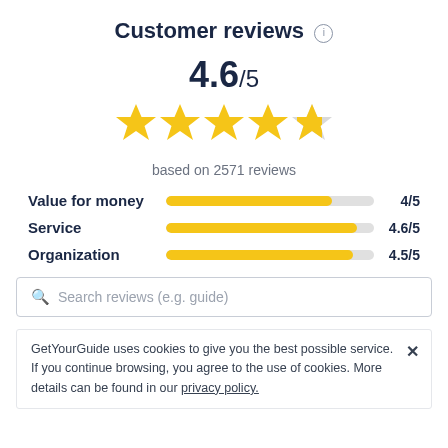Customer reviews
4.6/5
[Figure (other): 5 stars with 4.6 filled in yellow and last star partially filled]
based on 2571 reviews
[Figure (bar-chart): Rating breakdown]
Search reviews (e.g. guide)
GetYourGuide uses cookies to give you the best possible service. If you continue browsing, you agree to the use of cookies. More details can be found in our privacy policy.